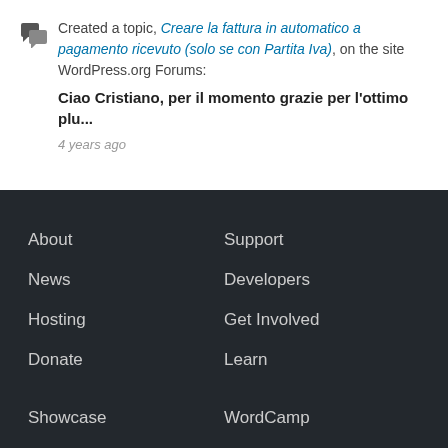Created a topic, Creare la fattura in automatico a pagamento ricevuto (solo se con Partita Iva), on the site WordPress.org Forums:
Ciao Cristiano, per il momento grazie per l'ottimo plu...
4 years ago
About
Support
News
Developers
Hosting
Get Involved
Donate
Learn
Showcase
WordCamp